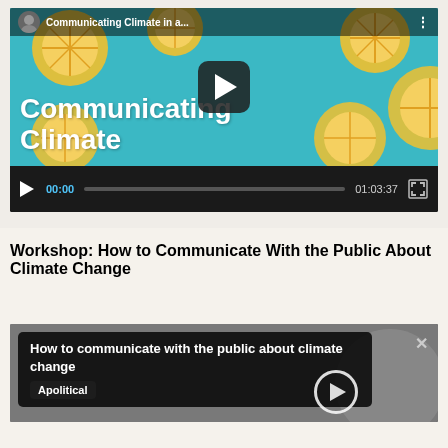[Figure (screenshot): Video player showing 'Communicating Climate in a...' with lemon/citrus thumbnail background, teal color, large white bold text 'Communicating Climate', play button overlay, and video controls showing 00:00 / 01:03:37]
Workshop: How to Communicate With the Public About Climate Change
[Figure (screenshot): Video thumbnail with dark overlay box showing 'How to communicate with the public about climate change', an 'Apolitical' tag, close button X, and a play button circle]